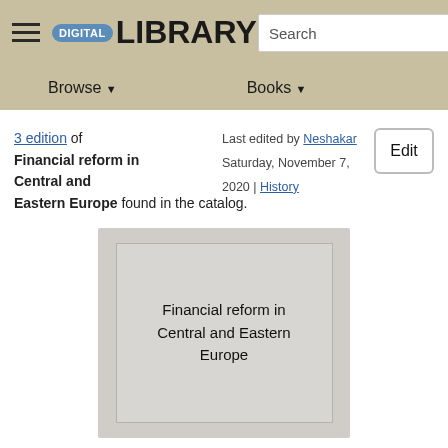DIGITAL LIBRARY | Search | Browse | Books
3 edition of Financial reform in Central and Eastern Europe found in the catalog. Last edited by Neshakar Saturday, November 7, 2020 | History
[Figure (illustration): Book cover placeholder showing the title Financial reform in Central and Eastern Europe on a grey background]